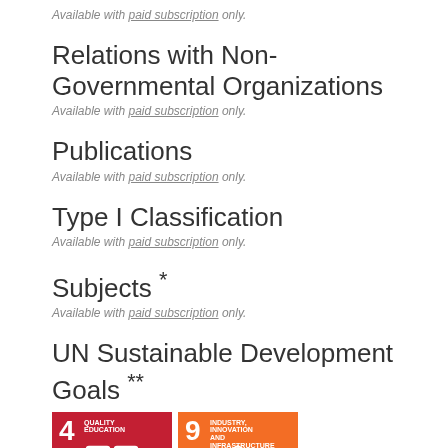Available with paid subscription only.
Relations with Non-Governmental Organizations
Available with paid subscription only.
Publications
Available with paid subscription only.
Type I Classification
Available with paid subscription only.
Subjects *
Available with paid subscription only.
UN Sustainable Development Goals **
[Figure (illustration): Two SDG icons: SDG 4 Quality Education (red) and SDG 9 Industry Innovation and Infrastructure (orange)]